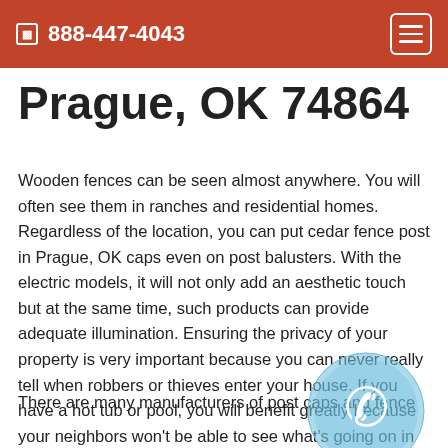888-447-4043
Prague, OK 74864
Wooden fences can be seen almost anywhere. You will often see them in ranches and residential homes. Regardless of the location, you can put cedar fence post in Prague, OK caps even on post balusters. With the electric models, it will not only add an aesthetic touch but at the same time, such products can provide adequate illumination. Ensuring the privacy of your property is very important because you can never really tell when robbers or thieves enter your house. If you have a hot tub or pool, you will benefit greatly because your neighbors won't be able to see what's going on in your yard.
There are many manufacturers of post caps and fence